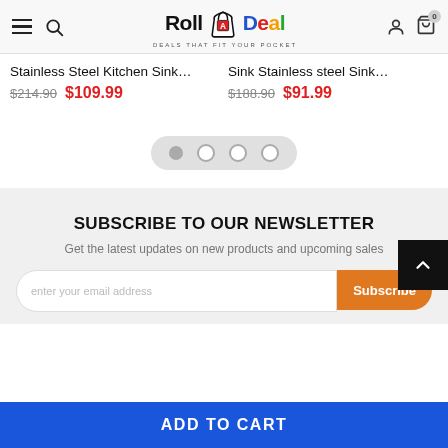[Figure (logo): Roll A Deal logo with shopping bag icon and tagline DEALS THAT FIT YOUR POCKET]
Stainless Steel Kitchen Sink…
$214.90  $109.99
Sink Stainless steel Sink…
$188.90  $91.99
SUBSCRIBE TO OUR NEWSLETTER
Get the latest updates on new products and upcoming sales
enter your email address
Subscribe
ADD TO CART